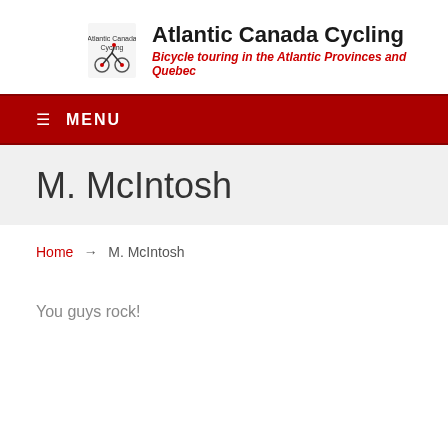Atlantic Canada Cycling — Bicycle touring in the Atlantic Provinces and Quebec
MENU
M. McIntosh
Home → M. McIntosh
You guys rock!